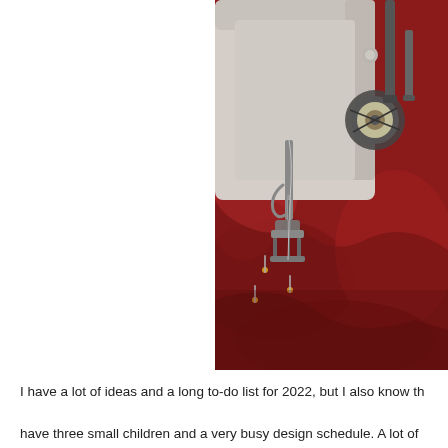[Figure (photo): Close-up photograph of a sewing machine needle and presser foot on red fabric, with small yellow pins visible. The machine body is beige/cream colored with metallic attachments.]
I have a lot of ideas and a long to-do list for 2022, but I also know that I have three small children and a very busy design schedule. A lot of